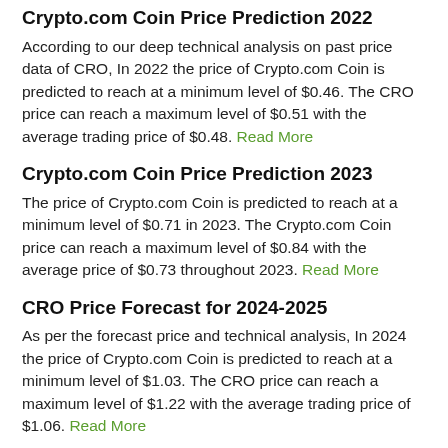Crypto.com Coin Price Prediction 2022
According to our deep technical analysis on past price data of CRO, In 2022 the price of Crypto.com Coin is predicted to reach at a minimum level of $0.46. The CRO price can reach a maximum level of $0.51 with the average trading price of $0.48. Read More
Crypto.com Coin Price Prediction 2023
The price of Crypto.com Coin is predicted to reach at a minimum level of $0.71 in 2023. The Crypto.com Coin price can reach a maximum level of $0.84 with the average price of $0.73 throughout 2023. Read More
CRO Price Forecast for 2024-2025
As per the forecast price and technical analysis, In 2024 the price of Crypto.com Coin is predicted to reach at a minimum level of $1.03. The CRO price can reach a maximum level of $1.22 with the average trading price of $1.06. Read More
The price of 1 Crypto.com Coin is expected to reach at a